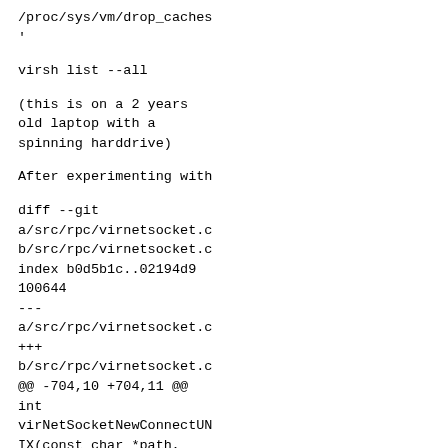/proc/sys/vm/drop_caches
'
virsh list --all
(this is on a 2 years
old laptop with a
spinning harddrive)
After experimenting with
diff --git
a/src/rpc/virnetsocket.c
b/src/rpc/virnetsocket.c
index b0d5b1c..02194d9
100644
---
a/src/rpc/virnetsocket.c
+++
b/src/rpc/virnetsocket.c
@@ -704,10 +704,11 @@
int
virNetSocketNewConnectUN
IX(const char *path,
                if
(virNetSocketForkDaemon(
binary) < 0)
                    goto
cleanup;